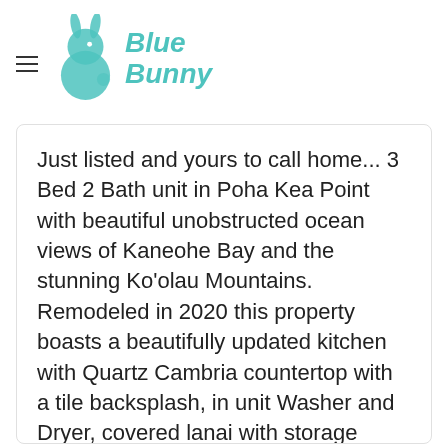Blue Bunny [logo with bunny icon]
Just listed and yours to call home... 3 Bed 2 Bath unit in Poha Kea Point with beautiful unobstructed ocean views of Kaneohe Bay and the stunning Ko'olau Mountains. Remodeled in 2020 this property boasts a beautifully updated kitchen with Quartz Cambria countertop with a tile backsplash, in unit Washer and Dryer, covered lanai with storage closet. This community has it all from swimming pools,